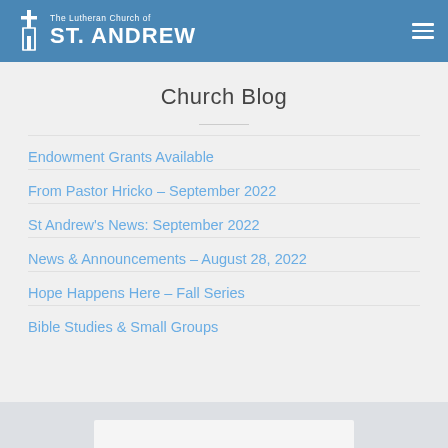The Lutheran Church of ST. ANDREW
Church Blog
Endowment Grants Available
From Pastor Hricko – September 2022
St Andrew's News: September 2022
News & Announcements – August 28, 2022
Hope Happens Here – Fall Series
Bible Studies & Small Groups